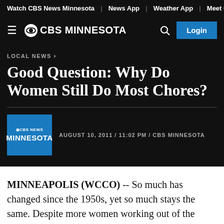Watch CBS News Minnesota | News App | Weather App | Meet Our Te
≡ @CBS MINNESOTA
LOCAL NEWS ›
Good Question: Why Do Women Still Do Most Chores?
AUGUST 10, 2011 / 11:02 PM / CBS MINNESOTA
MINNEAPOLIS (WCCO) -- So much has changed since the 1950s, yet so much stays the same. Despite more women working out of the home, and working more